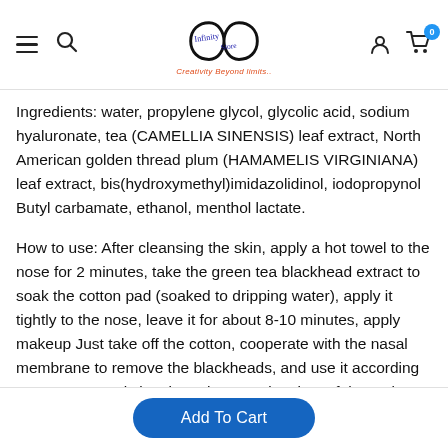Infinity logo with tagline 'Creativity Beyond limits..'
Ingredients: water, propylene glycol, glycolic acid, sodium hyaluronate, tea (CAMELLIA SINENSIS) leaf extract, North American golden thread plum (HAMAMELIS VIRGINIANA) leaf extract, bis(hydroxymethyl)imidazolidinol, iodopropynol Butyl carbamate, ethanol, menthol lactate.
How to use: After cleansing the skin, apply a hot towel to the nose for 2 minutes, take the green tea blackhead extract to soak the cotton pad (soaked to dripping water), apply it tightly to the nose, leave it for about 8-10 minutes, apply makeup Just take off the cotton, cooperate with the nasal membrane to remove the blackheads, and use it according to your personal situation. The retention time of the outlet fluid depends on the skin type. The time for dry and thin skin can be slightly shorter,